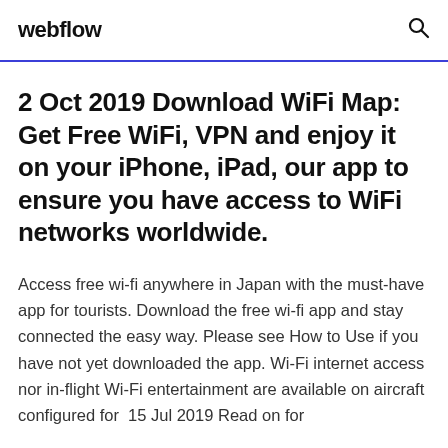webflow
2 Oct 2019 Download WiFi Map: Get Free WiFi, VPN and enjoy it on your iPhone, iPad, our app to ensure you have access to WiFi networks worldwide.
Access free wi-fi anywhere in Japan with the must-have app for tourists. Download the free wi-fi app and stay connected the easy way. Please see How to Use if you have not yet downloaded the app. Wi-Fi internet access nor in-flight Wi-Fi entertainment are available on aircraft configured for  15 Jul 2019 Read on for